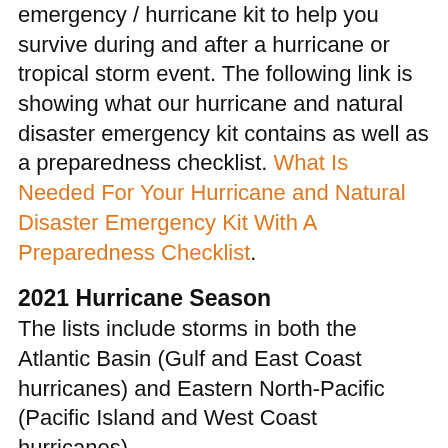emergency / hurricane kit to help you survive during and after a hurricane or tropical storm event. The following link is showing what our hurricane and natural disaster emergency kit contains as well as a preparedness checklist. What Is Needed For Your Hurricane and Natural Disaster Emergency Kit With A Preparedness Checklist.
2021 Hurricane Season
The lists include storms in both the Atlantic Basin (Gulf and East Coast hurricanes) and Eastern North-Pacific (Pacific Island and West Coast hurricanes). Hurricane season officially starts on June 1 and ends on November 30.
| Hurricane Names for 2021 |
| --- |
| Atlantic Tropical (and Subtropical) Storm Names for 2021 |
| Ana | Henri | Odette |
| Bill | Ida | Peter |